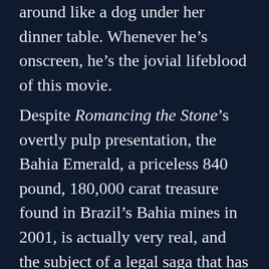around like a dog under her dinner table. Whenever he's onscreen, he's the jovial lifeblood of this movie.
Despite Romancing the Stone's overtly pulp presentation, the Bahia Emerald, a priceless 840 pound, 180,000 carat treasure found in Brazil's Bahia mines in 2001, is actually very real, and the subject of a legal saga that has dragged on for decades. Unearthed from the beryllium and chromium rich folds by Portuguese prospectors known as garimpeiros, who since the early 1960s have risked their lives mining the hexagonal gemstones forged within the cooled,